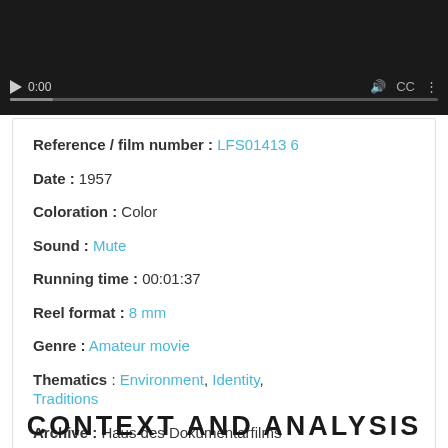[Figure (screenshot): Video player with dark background, showing timestamp 0:00, play button, progress bar, and control icons]
Reference / film number : LFS01413 6
Date : 1957
Coloration : Color
Sound : Mute
Running time : 00:01:37
Reel format : 8 mm
Genre : Amateur movie
Thematics : Environment, Identity, Traditions
Archive : Haus des Dokumentarfilms
CONTEXT AND ANALYSIS